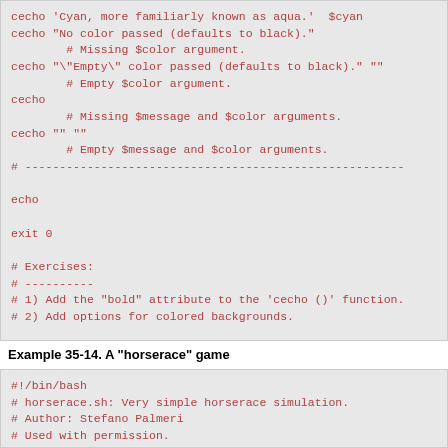cecho 'Cyan, more familiarly known as aqua.' $cyan
cecho "No color passed (defaults to black)."
        # Missing $color argument.
cecho "\"Empty\" color passed (defaults to black)." ""
        # Empty $color argument.
cecho
        # Missing $message and $color arguments.
cecho "" ""
        # Empty $message and $color arguments.
# -------------------------------------------------------

echo

exit 0

# Exercises:
# ----------
# 1) Add the "bold" attribute to the 'cecho ()' function.
# 2) Add options for colored backgrounds.
Example 35-14. A "horserace" game
#!/bin/bash
# horserace.sh: Very simple horserace simulation.
# Author: Stefano Palmeri
# Used with permission.

########################################################
#  Goals of the script:
#  playing with escape sequences and terminal colors.
#